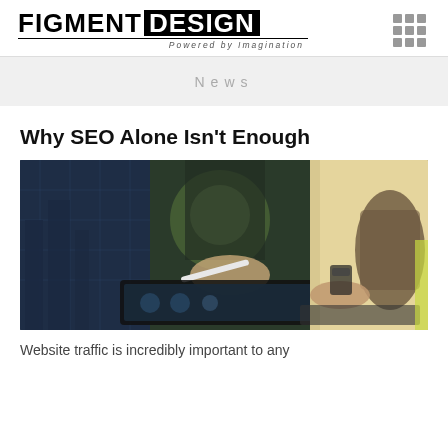FIGMENT DESIGN — Powered by Imagination
News
Why SEO Alone Isn't Enough
[Figure (photo): A person holding a stylus pen working on a tablet device in a modern office setting, with digital interface overlays and another person's hands visible in the background.]
Website traffic is incredibly important to any